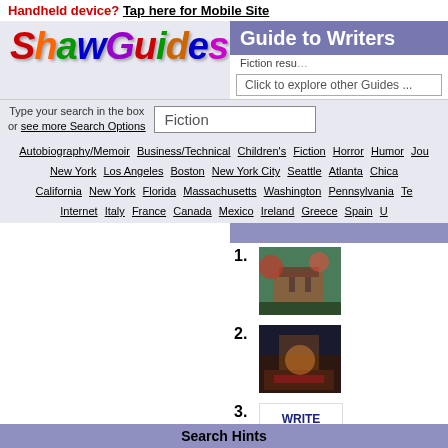Handheld device? Tap here for Mobile Site
ShawGuides
Guide to Writers
Fiction results
Click to explore other Guides ...
Type your search in the box or see more Search Options
Fiction
Autobiography/Memoir  Business/Technical  Children's  Fiction  Horror  Humor  Jou...
New York  Los Angeles  Boston  New York City  Seattle  Atlanta  Chicago...
California  New York  Florida  Massachusetts  Washington  Pennsylvania  Te...
Internet  Italy  France  Canada  Mexico  Ireland  Greece  Spain  U...
[Figure (photo): Exterior building photo with trees, result item 1]
[Figure (photo): Interior room photo with warm lighting, result item 2]
[Figure (logo): Write on the Sound logo]
Search Hints